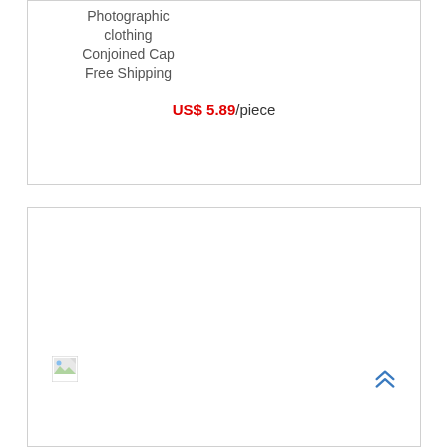Photographic clothing Conjoined Cap Free Shipping
US$ 5.89/piece
[Figure (other): Broken image icon placeholder in a product card]
[Figure (other): Scroll-to-top chevron arrows icon (blue double upward chevron)]